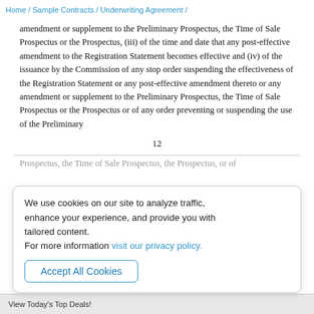Home / Sample Contracts / Underwriting Agreement /
amendment or supplement to the Preliminary Prospectus, the Time of Sale Prospectus or the Prospectus, (iii) of the time and date that any post-effective amendment to the Registration Statement becomes effective and (iv) of the issuance by the Commission of any stop order suspending the effectiveness of the Registration Statement or any post-effective amendment thereto or any amendment or supplement to the Preliminary Prospectus, the Time of Sale Prospectus or the Prospectus or of any order preventing or suspending the use of the Preliminary
12
We use cookies on our site to analyze traffic, enhance your experience, and provide you with tailored content.
For more information visit our privacy policy.
Accept All Cookies